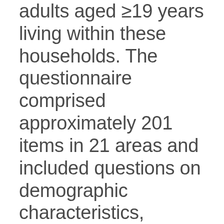adults aged ≥19 years living within these households. The questionnaire comprised approximately 201 items in 21 areas and included questions on demographic characteristics, subjective health levels, health-related behaviors, and chronic disease history. In total, 228 340 people participated in the 2018